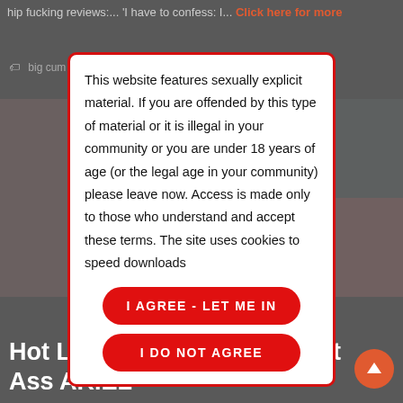hip fucking reviews:... 'I have to confess: I... Click here for more
big cum sho... / imming / sucking / twink...
[Figure (photo): Background photos of a person in red cap and red tank top, shown in two panels]
This website features sexually explicit material. If you are offended by this type of material or it is illegal in your community or you are under 18 years of age (or the legal age in your community) please leave now. Access is made only to those who understand and accept these terms. The site uses cookies to speed downloads
I AGREE - LET ME IN
I DO NOT AGREE
Hot Latin ... cut Cock and Hot Ass ARIEL